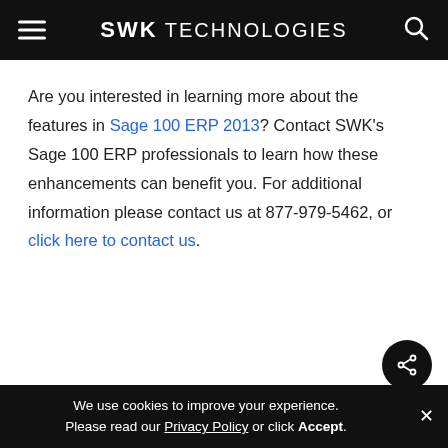SWK TECHNOLOGIES
Are you interested in learning more about the features in Sage 100 ERP 2013? Contact SWK’s Sage 100 ERP professionals to learn how these enhancements can benefit you. For additional information please contact us at 877-979-5462, or click here to contact us.
We use cookies to improve your experience. Please read our Privacy Policy or click Accept.